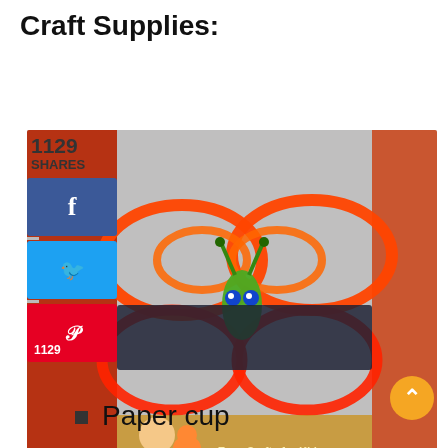Craft Supplies:
[Figure (photo): Craft project photo showing a butterfly made from pipe cleaners (chenille stems) in red and orange colors, with a green body and googly eyes, on a grey background. A social sharing sidebar is overlaid on the left showing 1129 shares with Facebook, Twitter, and Pinterest buttons. A dark semi-transparent banner overlays the center of the image. A cartoon girl and cat appear in the lower left corner with text 'Easy Crafts for Kids'.]
Paper cup